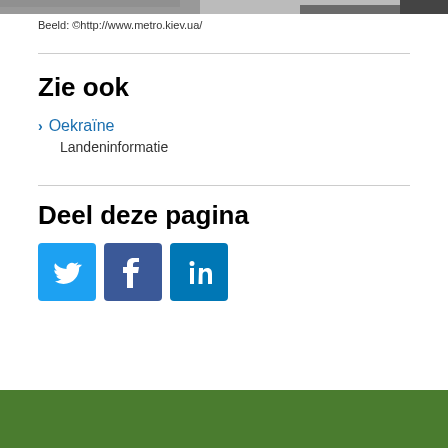[Figure (photo): Partial photo strip at top of page showing people or urban scene]
Beeld: ©http://www.metro.kiev.ua/
Zie ook
Oekraïne
Landeninformatie
Deel deze pagina
[Figure (infographic): Social media sharing icons: Twitter, Facebook, LinkedIn]